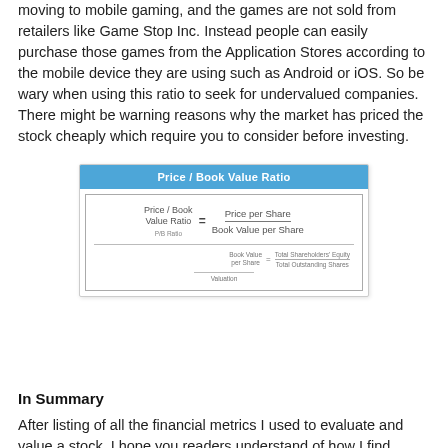moving to mobile gaming, and the games are not sold from retailers like Game Stop Inc. Instead people can easily purchase those games from the Application Stores according to the mobile device they are using such as Android or iOS. So be wary when using this ratio to seek for undervalued companies. There might be warning reasons why the market has priced the stock cheaply which require you to consider before investing.
[Figure (schematic): Price / Book Value Ratio formula diagram with blue header bar showing title, and inner box showing: Price/Book Value Ratio = Price per Share / Book Value per Share, with sub-formula Book Value per Share = Total Shareholders Equity / Total Outstanding Shares, and Valuation label at bottom.]
In Summary
After listing of all the financial metrics I used to evaluate and value a stock, I hope you readers understand of how I find